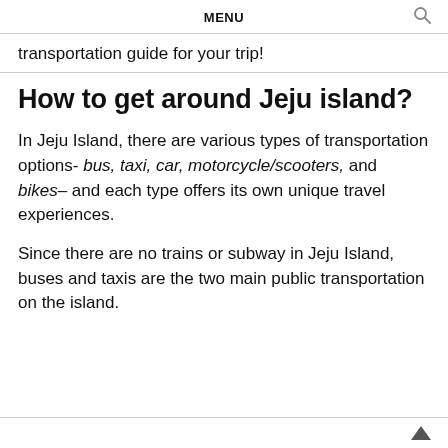MENU
transportation guide for your trip!
How to get around Jeju island?
In Jeju Island, there are various types of transportation options- bus, taxi, car, motorcycle/scooters, and bikes– and each type offers its own unique travel experiences.
Since there are no trains or subway in Jeju Island, buses and taxis are the two main public transportation on the island.